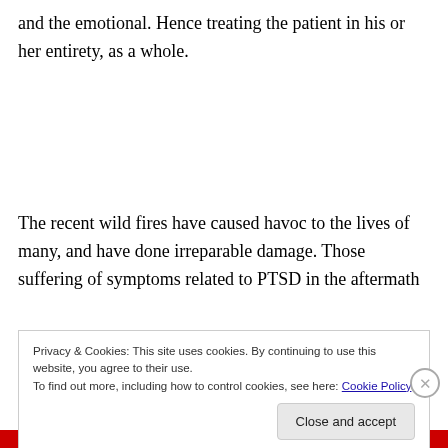and the emotional. Hence treating the patient in his or her entirety, as a whole.
The recent wild fires have caused havoc to the lives of many, and have done irreparable damage. Those suffering of symptoms related to PTSD in the aftermath
Privacy & Cookies: This site uses cookies. By continuing to use this website, you agree to their use.
To find out more, including how to control cookies, see here: Cookie Policy
Close and accept